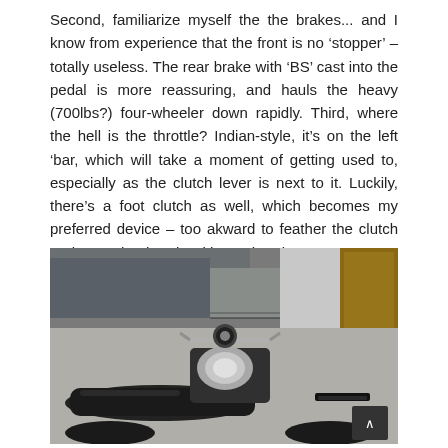Second, familiarize myself the the brakes... and I know from experience that the front is no 'stopper' – totally useless. The rear brake with 'BS' cast into the pedal is more reassuring, and hauls the heavy (700lbs?) four-wheeler down rapidly. Third, where the hell is the throttle? Indian-style, it's on the left 'bar, which will take a moment of getting used to, especially as the clutch lever is next to it. Luckily, there's a foot clutch as well, which becomes my preferred device – too akward to feather the clutch and open the throttle with one hand.
[Figure (photo): Photograph of a vintage motorcycle with chrome engine parts and a long seat, viewed from above/rear angle, parked in a garage with a truck and wall visible in the background. A scroll-up button is visible at the bottom right corner.]